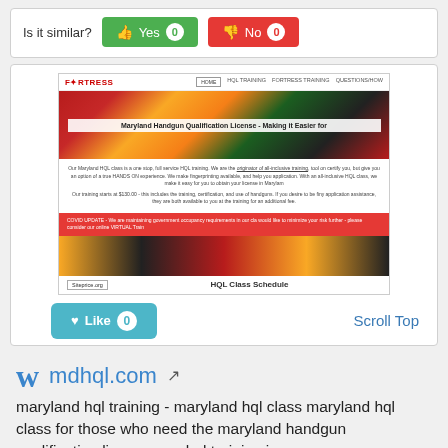Is it similar?
[Figure (screenshot): Website screenshot of mdhql.com Fortress training page showing Maryland Handgun Qualification License content, Maryland flag hero image, COVID update banner, and HQL Class Schedule section with Siteprice.org badge]
Like 0
Scroll Top
mdhql.com
maryland hql training - maryland hql class maryland hql class for those who need the maryland handgun qualification license. our hql training is a one